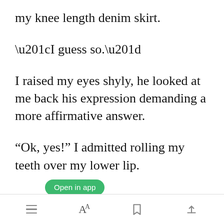my knee length denim skirt.
“I guess so.”
I raised my eyes shyly, he looked at me back his expression demanding a more affirmative answer.
“Ok, yes!” I admitted rolling my teeth over my lower lip.
[Figure (screenshot): Green 'Open in app' button overlay]
Toolbar with menu, font, bookmark, and share icons